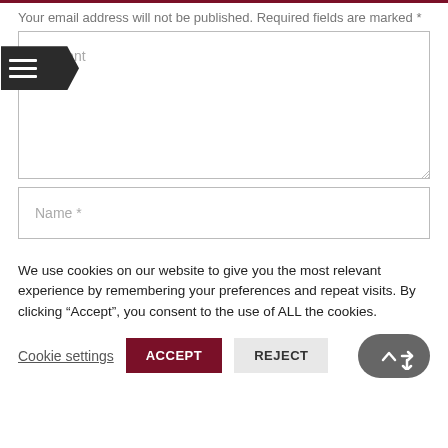Your email address will not be published. Required fields are marked *
[Figure (screenshot): Comment text area form field with a dark arrow/menu icon overlaid on the left side, and a Name field below it]
We use cookies on our website to give you the most relevant experience by remembering your preferences and repeat visits. By clicking “Accept”, you consent to the use of ALL the cookies.
Cookie settings  ACCEPT  REJECT